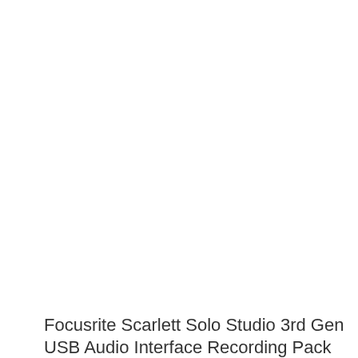Focusrite Scarlett Solo Studio 3rd Gen USB Audio Interface Recording Pack